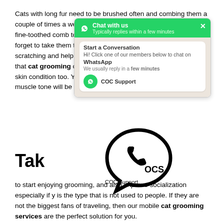Cats with long fur need to be brushed often and combing them a couple of times a week are highly recommended. You can use a fine-toothed comb to keep a check for fleas and ticks. Never forget to take them to an expert for nail trimming to help reduce scratching and help them feel more comfortable. You will notice that cat grooming on a regular basis will improve the overall skin condition too. Your cats circulation will be stimulated and muscle tone will be improved.
[Figure (screenshot): WhatsApp 'Chat with us' widget overlay showing two chat bubble icons, a 'Start a Conversation' heading, 'Hi! Click one of our members below to chat on WhatsApp', 'We usually reply in a few minutes', and a COC Support contact icon.]
Tak
Frequent grooming sessions can help your cat get used to start enjoying grooming, and also improve socialization especially if y is the type that is not used to people. If they are not the biggest fans of traveling, then our mobile cat grooming services are the perfect solution for you.